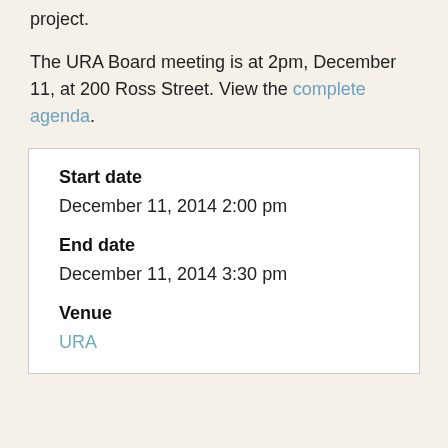project.
The URA Board meeting is at 2pm, December 11, at 200 Ross Street. View the complete agenda.
| Start date |  |
| December 11, 2014 2:00 pm |  |
| End date |  |
| December 11, 2014 3:30 pm |  |
| Venue |  |
| URA |  |